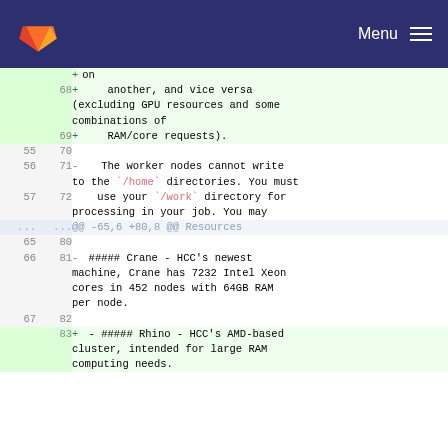GitLab navigation bar with logo and Menu
Diff view showing code changes:
Line 68 added: another, and vice versa (excluding GPU resources and some combinations of
Line 69 added: RAM/core requests).
Line 55/70: (blank)
Line 56/71: -   The worker nodes cannot write to the `/home` directories. You must
Line 57/72:     use your `/work` directory for processing in your job. You may
@@ -65,6 +80,8 @@ Resources
Line 65/80: (blank)
Line 66/81: - ##### Crane - HCC's newest machine, Crane has 7232 Intel Xeon cores in 452 nodes with 64GB RAM per node.
Line 67/82: (blank)
Line 83 added: + - ##### Rhino - HCC's AMD-based cluster, intended for large RAM computing needs.